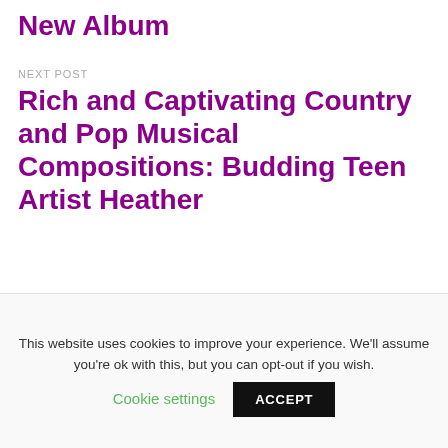New Album
NEXT POST
Rich and Captivating Country and Pop Musical Compositions: Budding Teen Artist Heather
This website uses cookies to improve your experience. We'll assume you're ok with this, but you can opt-out if you wish.
Cookie settings
ACCEPT